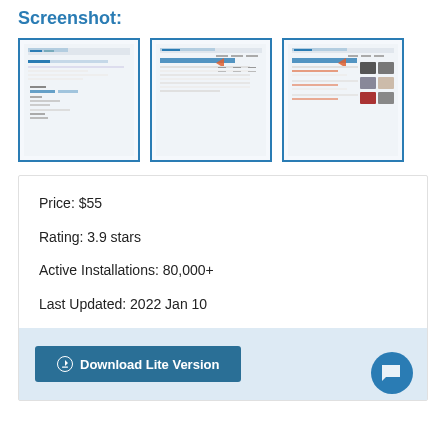Screenshot:
[Figure (screenshot): Three thumbnail screenshots of a web application interface showing tables and data with blue accents]
Price: $55
Rating: 3.9 stars
Active Installations: 80,000+
Last Updated: 2022 Jan 10
Download Lite Version